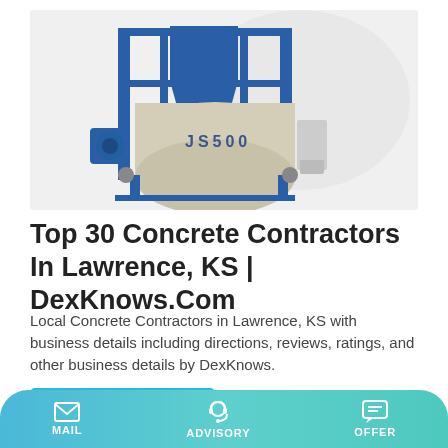[Figure (photo): JS500 concrete mixer machine with blue steel frame and beige drum labeled JS500, on white background]
Top 30 Concrete Contractors In Lawrence, KS | DexKnows.Com
Local Concrete Contractors in Lawrence, KS with business details including directions, reviews, ratings, and other business details by DexKnows.
Learn More
MAIL   ADVISORY   OFFER